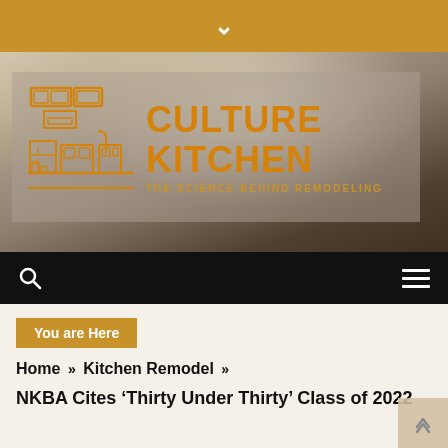▼
[Figure (logo): Culture Kitchen logo with kitchen appliance icon. Text reads: CULTURE KITCHEN - THE SCIENCE BEHIND REMODELING]
Search icon and hamburger menu icon on black navigation bar
You are Here
Home » Kitchen Remodel »
NKBA Cites 'Thirty Under Thirty' Class of 2022